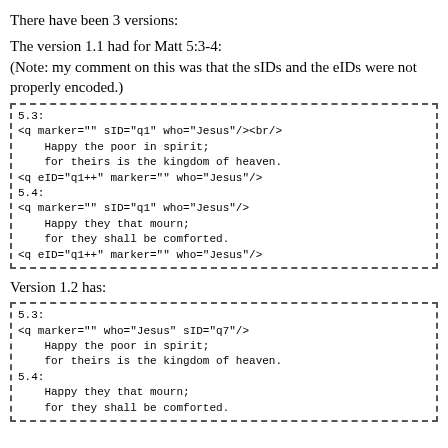There have been 3 versions:
The version 1.1 had for Matt 5:3-4:
(Note: my comment on this was that the sIDs and the eIDs were not properly encoded.)
[Figure (other): Dashed-border code block showing XML markup for version 1.1, Matt 5:3-4]
Version 1.2 has:
[Figure (other): Dashed-border code block showing XML markup for version 1.2, Matt 5:3-4]